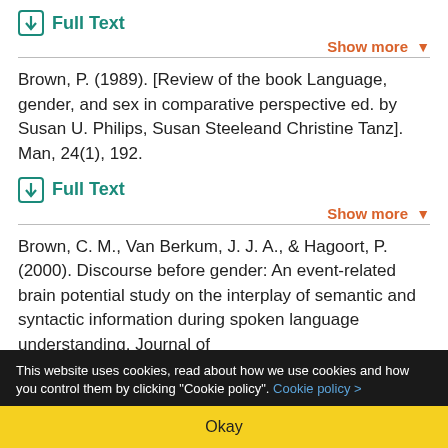Full Text
Show more
Brown, P. (1989). [Review of the book Language, gender, and sex in comparative perspective ed. by Susan U. Philips, Susan Steeleand Christine Tanz]. Man, 24(1), 192.
Full Text
Show more
Brown, C. M., Van Berkum, J. J. A., & Hagoort, P. (2000). Discourse before gender: An event-related brain potential study on the interplay of semantic and syntactic information during spoken language understanding. Journal of
This website uses cookies, read about how we use cookies and how you control them by clicking "Cookie policy". Cookie policy >
Okay